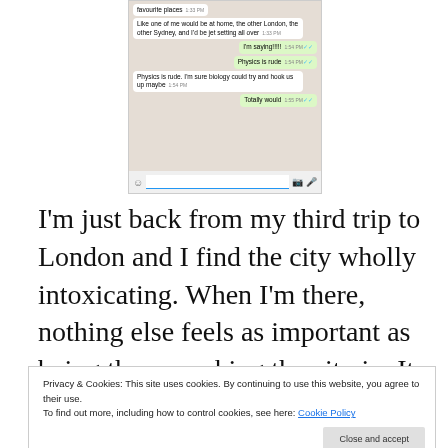[Figure (screenshot): WhatsApp chat screenshot showing messages: 'favourite places 1:33 PM', 'Like one of me would be at home, the other London, the other Sydney, and I'd be jet setting all over 1:33 PM', 'I'm saying!!!!! 1:54 PM', 'Physics is rude 1:54 PM', 'Physics is rude. I'm sure biology could try and hook us up maybe 1:54 PM', 'Totally would 1:55 PM', followed by a text input bar.]
I'm just back from my third trip to London and I find the city wholly intoxicating. When I'm there, nothing else feels as important as being there, soaking the city in. It feels endlessly alive and so do I. And even though, on paper, I shouldn't like it, my appetite for it is insatiable.
Privacy & Cookies: This site uses cookies. By continuing to use this website, you agree to their use.
To find out more, including how to control cookies, see here: Cookie Policy
Close and accept